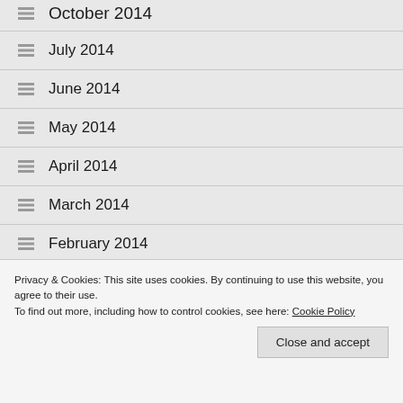October 2014
July 2014
June 2014
May 2014
April 2014
March 2014
February 2014
December 2013
Privacy & Cookies: This site uses cookies. By continuing to use this website, you agree to their use.
To find out more, including how to control cookies, see here: Cookie Policy
Close and accept